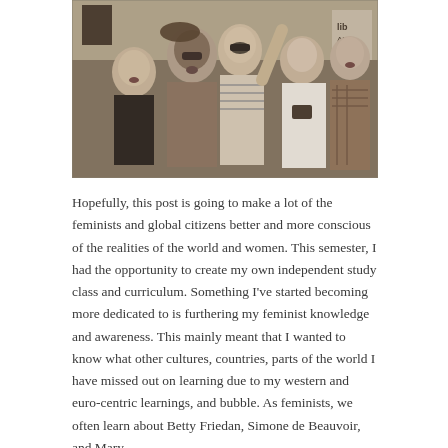[Figure (photo): Black and white photograph of several women at what appears to be a protest or rally, some with arms raised, some holding signs, expressions of energy and determination.]
Hopefully, this post is going to make a lot of the feminists and global citizens better and more conscious of the realities of the world and women. This semester, I had the opportunity to create my own independent study class and curriculum. Something I've started becoming more dedicated to is furthering my feminist knowledge and awareness. This mainly meant that I wanted to know what other cultures, countries, parts of the world I have missed out on learning due to my western and euro-centric learnings, and bubble. As feminists, we often learn about Betty Friedan, Simone de Beauvoir, and Mary